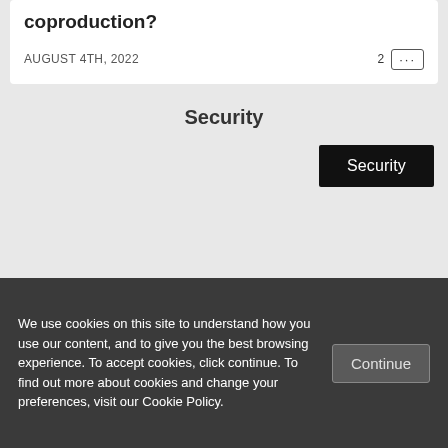coproduction?
AUGUST 4TH, 2022   2 ...
Security
Security
We use cookies on this site to understand how you use our content, and to give you the best browsing experience. To accept cookies, click continue. To find out more about cookies and change your preferences, visit our Cookie Policy.